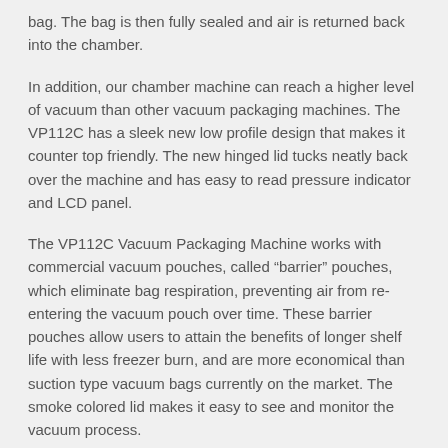bag. The bag is then fully sealed and air is returned back into the chamber.
In addition, our chamber machine can reach a higher level of vacuum than other vacuum packaging machines. The VP112C has a sleek new low profile design that makes it counter top friendly. The new hinged lid tucks neatly back over the machine and has easy to read pressure indicator and LCD panel.
The VP112C Vacuum Packaging Machine works with commercial vacuum pouches, called “barrier” pouches, which eliminate bag respiration, preventing air from re-entering the vacuum pouch over time. These barrier pouches allow users to attain the benefits of longer shelf life with less freezer burn, and are more economical than suction type vacuum bags currently on the market. The smoke colored lid makes it easy to see and monitor the vacuum process.
Voltage: 110 V
Pump: Dry rocker piston
Height: 9 "